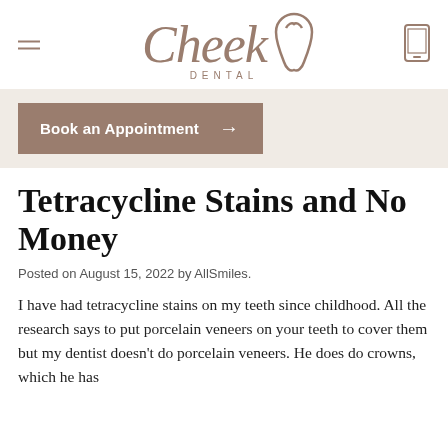[Figure (logo): Cheek Dental logo with stylized script text and tooth graphic icon, in taupe/brown color]
Book an Appointment →
Tetracycline Stains and No Money
Posted on August 15, 2022 by AllSmiles.
I have had tetracycline stains on my teeth since childhood. All the research says to put porcelain veneers on your teeth to cover them but my dentist doesn't do porcelain veneers. He does do crowns, which he has